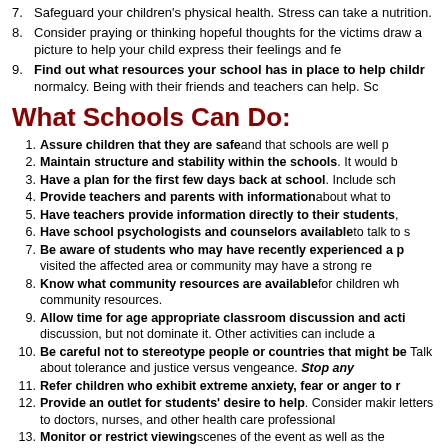7. Safeguard your children's physical health. Stress can take a nutrition.
8. Consider praying or thinking hopeful thoughts for the victims draw a picture to help your child express their feelings and fe
9. Find out what resources your school has in place to help childr normalcy. Being with their friends and teachers can help. Sc
What Schools Can Do:
1. Assure children that they are safe and that schools are well p
2. Maintain structure and stability within the schools. It would b
3. Have a plan for the first few days back at school. Include sch
4. Provide teachers and parents with information about what to
5. Have teachers provide information directly to their students,
6. Have school psychologists and counselors available to talk to s
7. Be aware of students who may have recently experienced a p visited the affected area or community may have a strong re
8. Know what community resources are available for children wh community resources.
9. Allow time for age appropriate classroom discussion and acti discussion, but not dominate it. Other activities can include a
10. Be careful not to stereotype people or countries that might be Talk about tolerance and justice versus vengeance. Stop any
11. Refer children who exhibit extreme anxiety, fear or anger to r
12. Provide an outlet for students' desire to help. Consider makir letters to doctors, nurses, and other health care professional
13. Monitor or restrict viewing scenes of the event as well as the
For information on helping children and youth with this crisis, co